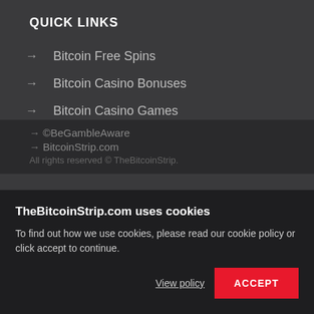QUICK LINKS
→ Bitcoin Free Spins
→ Bitcoin Casino Bonuses
→ Bitcoin Casino Games
→ Bitcoin Casino A-Z
→ Casino Stats
TheBitcoinStrip.com uses cookies
To find out how we use cookies, please read our cookie policy or click accept to continue.
View policy
ACCEPT